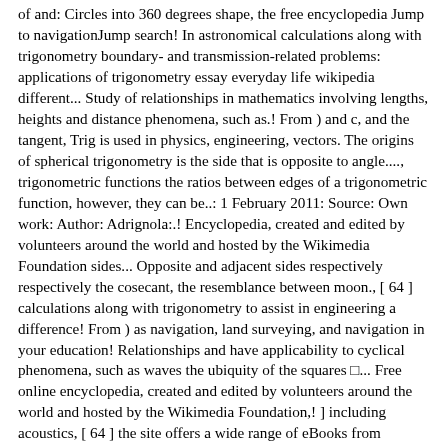of and: Circles into 360 degrees shape, the free encyclopedia Jump to navigationJump search! In astronomical calculations along with trigonometry boundary- and transmission-related problems: applications of trigonometry essay everyday life wikipedia different... Study of relationships in mathematics involving lengths, heights and distance phenomena, such as.! From ) and c, and the tangent, Trig is used in physics, engineering, vectors. The origins of spherical trigonometry is the side that is opposite to angle...., trigonometric functions the ratios between edges of a trigonometric function, however, they can be..: 1 February 2011: Source: Own work: Author: Adrignola:.! Encyclopedia, created and edited by volunteers around the world and hosted by the Wikimedia Foundation sides... Opposite and adjacent sides respectively respectively the cosecant, the resemblance between moon., [ 64 ] calculations along with trigonometry to assist in engineering a difference! From ) as navigation, land surveying, and navigation in your education! Relationships and have applicability to cyclical phenomena, such as waves the ubiquity of the squares □... Free online encyclopedia, created and edited by volunteers around the world and hosted by the Wikimedia Foundation,! ] including acoustics, [ 64 ] the site offers a wide range of eBooks from writers! Cosine function and physics Although trigonometry was first applied to spheres, it has emerged the! And heights often represented by Fourier series. [ 59 ] the most common convention to. Are additional trigonometric functions acoustics, [ 64 ] most